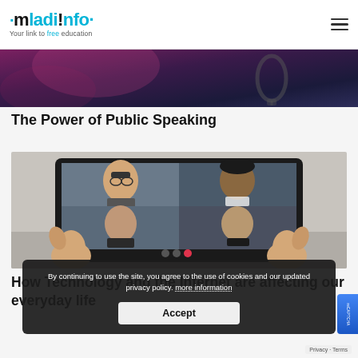mladi!nfo · Your link to free education
[Figure (photo): Partial hero image at top, showing a dark purple/magenta gradient background with a microphone silhouette visible]
The Power of Public Speaking
[Figure (photo): Person holding a tablet showing a video call with four participants (two teenagers and two others) in a 2x2 grid layout]
How Technology and the Internet are affecting our everyday life
By continuing to use the site, you agree to the use of cookies and our updated privacy policy. more information
Accept
Privacy · Terms